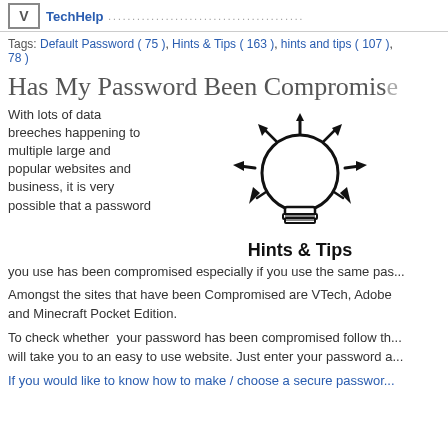TechHelp ................................
Tags: Default Password ( 75 ), Hints & Tips ( 163 ), hints and tips ( 107 ), 78 )
Has My Password Been Compromised
With lots of data breeches happening to multiple large and popular websites and business, it is very possible that a password you use has been compromised especially if you use the same password
[Figure (illustration): Light bulb icon with rays, labeled 'Hints & Tips' underneath in bold text]
Amongst the sites that have been Compromised are VTech, Adobe and Minecraft Pocket Edition.
To check whether your password has been compromised follow this link, it will take you to an easy to use website. Just enter your password and
If you would like to know how to make / choose a secure password